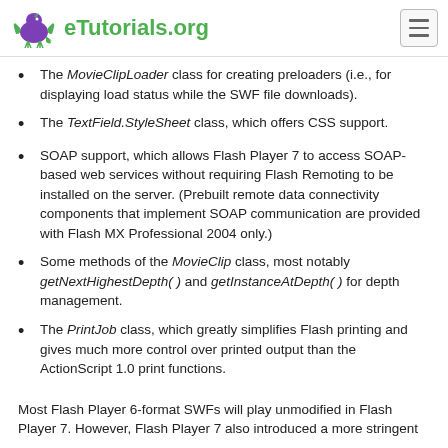eTutorials.org
The MovieClipLoader class for creating preloaders (i.e., for displaying load status while the SWF file downloads).
The TextField.StyleSheet class, which offers CSS support.
SOAP support, which allows Flash Player 7 to access SOAP-based web services without requiring Flash Remoting to be installed on the server. (Prebuilt remote data connectivity components that implement SOAP communication are provided with Flash MX Professional 2004 only.)
Some methods of the MovieClip class, most notably getNextHighestDepth( ) and getInstanceAtDepth( ) for depth management.
The PrintJob class, which greatly simplifies Flash printing and gives much more control over printed output than the ActionScript 1.0 print functions.
Most Flash Player 6-format SWFs will play unmodified in Flash Player 7. However, Flash Player 7 also introduced a more stringent